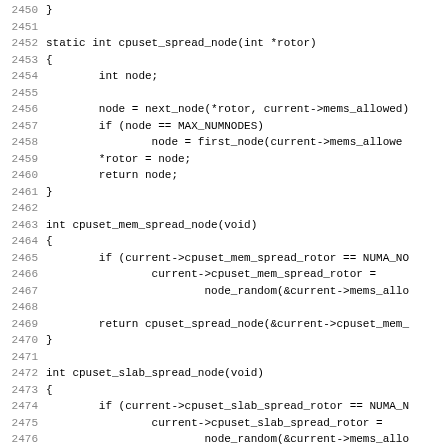Source code listing, lines 2450-2482, showing C functions: cpuset_spread_node, cpuset_mem_spread_node, cpuset_slab_spread_node, and EXPORT_SYMBOL_GPL call.